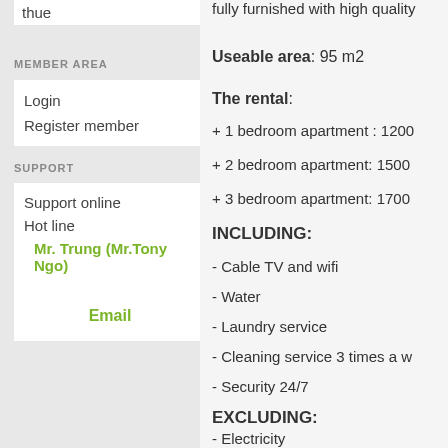thue
MEMBER AREA
Login
Register member
SUPPORT
Support online
Hot line
Mr. Trung (Mr.Tony Ngo)
Email
fully furnished with high quality
Useable area: 95 m2
The rental:
+ 1 bedroom apartment : 1200
+ 2 bedroom apartment: 1500
+ 3 bedroom apartment: 1700
INCLUDING:
- Cable TV and wifi
- Water
- Laundry service
- Cleaning service 3 times a w
- Security 24/7
EXCLUDING:
- Electricity
The term: Long term. 2 month
To know more properties in Di